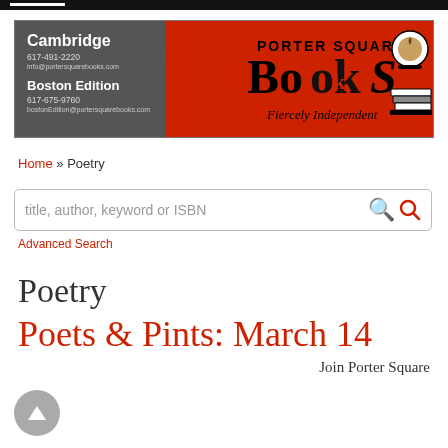[Figure (logo): Porter Square Books banner logo with Cambridge and Boston Edition contact info on grey left panel, red right panel with 'PORTER SQUARE BooksS' text and 'Fiercely Independent' tagline, coffee cup and books illustration]
Home » Poetry
title, author, keyword or ISBN
Advanced Search
Poetry
Poets & Pints: March 14
Join Porter Square